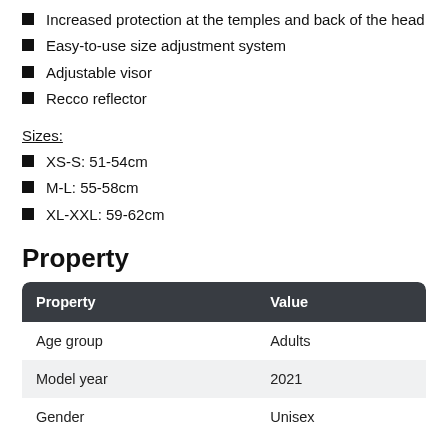Increased protection at the temples and back of the head
Easy-to-use size adjustment system
Adjustable visor
Recco reflector
Sizes:
XS-S: 51-54cm
M-L: 55-58cm
XL-XXL: 59-62cm
Property
| Property | Value |
| --- | --- |
| Age group | Adults |
| Model year | 2021 |
| Gender | Unisex |